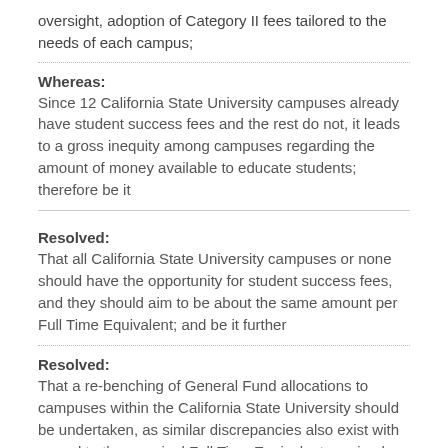oversight, adoption of Category II fees tailored to the needs of each campus;
Whereas:
Since 12 California State University campuses already have student success fees and the rest do not, it leads to a gross inequity among campuses regarding the amount of money available to educate students; therefore be it
Resolved:
That all California State University campuses or none should have the opportunity for student success fees, and they should aim to be about the same amount per Full Time Equivalent; and be it further
Resolved:
That a re-benching of General Fund allocations to campuses within the California State University should be undertaken, as similar discrepancies also exist with regard to the marginal Full Time Equivalent received per student; and be it further